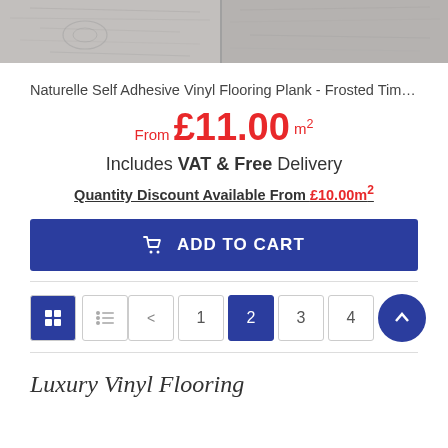[Figure (photo): Wood flooring product image showing grey/frosted timber vinyl planks with wood grain texture]
Naturelle Self Adhesive Vinyl Flooring Plank - Frosted Tim…
From £11.00 m²
Includes VAT & Free Delivery
Quantity Discount Available From £10.00m²
ADD TO CART
< 1 2 3 4
Luxury Vinyl Flooring